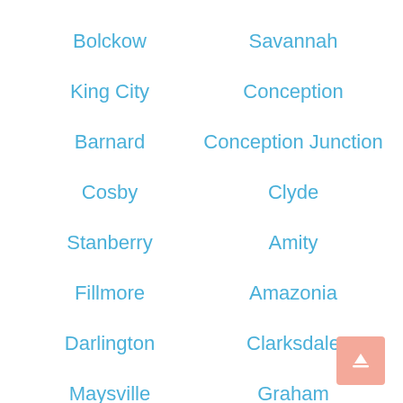Bolckow
Savannah
King City
Conception
Barnard
Conception Junction
Cosby
Clyde
Stanberry
Amity
Fillmore
Amazonia
Darlington
Clarksdale
Maysville
Graham